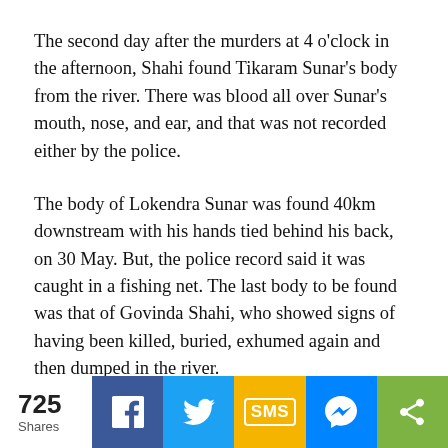The second day after the murders at 4 o'clock in the afternoon, Shahi found Tikaram Sunar's body from the river. There was blood all over Sunar's mouth, nose, and ear, and that was not recorded either by the police.
The body of Lokendra Sunar was found 40km downstream with his hands tied behind his back, on 30 May. But, the police record said it was caught in a fishing net. The last body to be found was that of Govinda Shahi, who showed signs of having been killed, buried, exhumed again and then dumped in the river.
“Govinda did not have any of his teeth, his forehead and nose were cut, and he was found
725 Shares